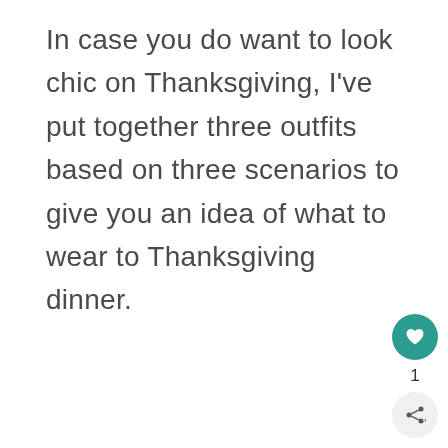In case you do want to look chic on Thanksgiving, I've put together three outfits based on three scenarios to give you an idea of what to wear to Thanksgiving dinner.